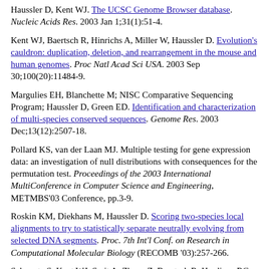Haussler D, Kent WJ. The UCSC Genome Browser database. Nucleic Acids Res. 2003 Jan 1;31(1):51-4.
Kent WJ, Baertsch R, Hinrichs A, Miller W, Haussler D. Evolution's cauldron: duplication, deletion, and rearrangement in the mouse and human genomes. Proc Natl Acad Sci USA. 2003 Sep 30;100(20):11484-9.
Margulies EH, Blanchette M; NISC Comparative Sequencing Program; Haussler D, Green ED. Identification and characterization of multi-species conserved sequences. Genome Res. 2003 Dec;13(12):2507-18.
Pollard KS, van der Laan MJ. Multiple testing for gene expression data: an investigation of null distributions with consequences for the permutation test. Proceedings of the 2003 International MultiConference in Computer Science and Engineering, METMBS'03 Conference, pp.3-9.
Roskin KM, Diekhans M, Haussler D. Scoring two-species local alignments to try to statistically separate neutrally evolving from selected DNA segments. Proc. 7th Int'l Conf. on Research in Computational Molecular Biology (RECOMB '03):257-266.
Schwartz S, Kent WJ, Smit A, Zhang Z, Baertsch R, Hardison RC, Haussler D, Miller W. Human genome alignment with BLASTZ...